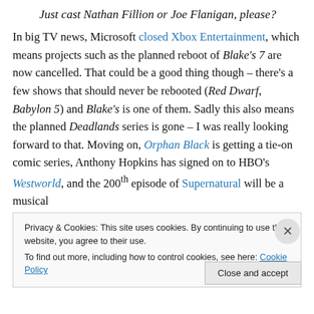Just cast Nathan Fillion or Joe Flanigan, please?
In big TV news, Microsoft closed Xbox Entertainment, which means projects such as the planned reboot of Blake's 7 are now cancelled. That could be a good thing though – there's a few shows that should never be rebooted (Red Dwarf, Babylon 5) and Blake's is one of them. Sadly this also means the planned Deadlands series is gone – I was really looking forward to that. Moving on, Orphan Black is getting a tie-on comic series, Anthony Hopkins has signed on to HBO's Westworld, and the 200th episode of Supernatural will be a musical
Privacy & Cookies: This site uses cookies. By continuing to use this website, you agree to their use.
To find out more, including how to control cookies, see here: Cookie Policy
Close and accept